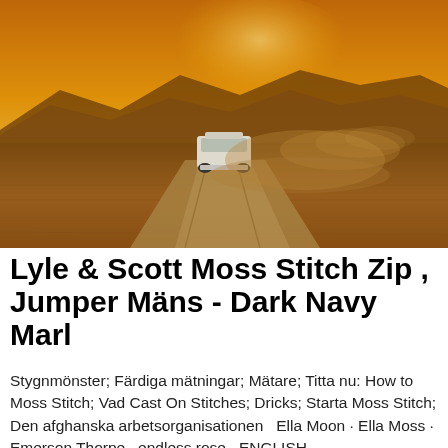[Figure (photo): A white van driving on a dusty dirt road in a desert landscape at sunset/golden hour, kicking up a trail of dust. Mountains are visible in the background under a warm orange sky.]
Lyle & Scott Moss Stitch Zip , Jumper Mäns - Dark Navy Marl
Stygnmönster; Färdiga mätningar; Mätare; Titta nu: How to Moss Stitch; Vad Cast On Stitches; Dricks; Starta Moss Stitch; Den afghanska arbetsorganisationen  Ella Moon · Ella Moss · Emerson Thorpe · endless rose · ENGLISH